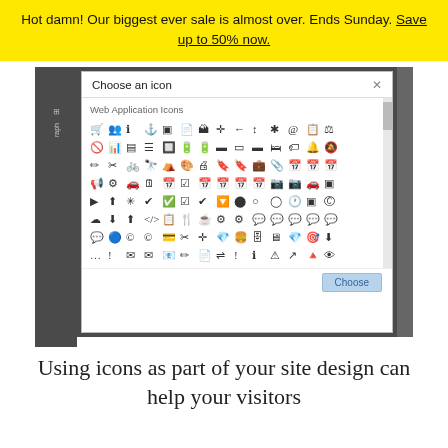Hot damn! Our biggest ever sale is almost over. Ends Sunday. Save up to 50% now.
[Figure (screenshot): A modal dialog titled 'Choose an icon' showing a large grid of web application icons (shopping cart, person, info, anchor, window, document, image, arrows, asterisk, at-sign, file, scale, ban, chart, barcode, list, toggles, battery icons, beds, tags, bells, bikes, binoculars, markers, paint, print, bookmarks, briefcases, calculators, megaphone, settings, car, calendar grids, cameras, check marks, circles, squares, speech bubbles, code brackets, cloud icons, fork/knife, layers, monitor, diamond, download, envelope icons, pen, warning, globe, arrow icons, and more) with a blue 'Choose' button at the bottom right, and a scrollbar on the right side. The dialog has a white background and the label 'Web Application Icons' above the grid.]
Using icons as part of your site design can help your visitors